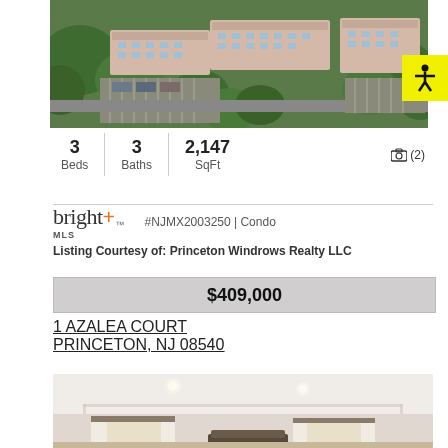[Figure (photo): Aerial drone photo of Princeton Windrows condominium complex surrounded by trees]
[Figure (infographic): Yellow accessibility icon button with human figure]
3 Beds   3 Baths   2,147 SqFt   📷(2)
#NJMX2003250 | Condo
Listing Courtesy of: Princeton Windrows Realty LLC
$409,000
1 AZALEA COURT
PRINCETON, NJ 08540
[Figure (photo): Interior photo of a room with white ceiling and windows with curtains]